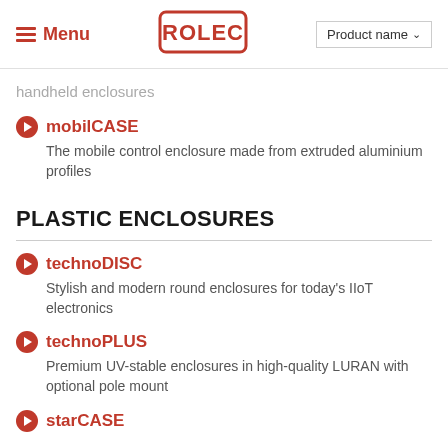Menu | ROLEC | Product name
handheld enclosures
mobilCASE – The mobile control enclosure made from extruded aluminium profiles
PLASTIC ENCLOSURES
technoDISC – Stylish and modern round enclosures for today's IIoT electronics
technoPLUS – Premium UV-stable enclosures in high-quality LURAN with optional pole mount
starCASE